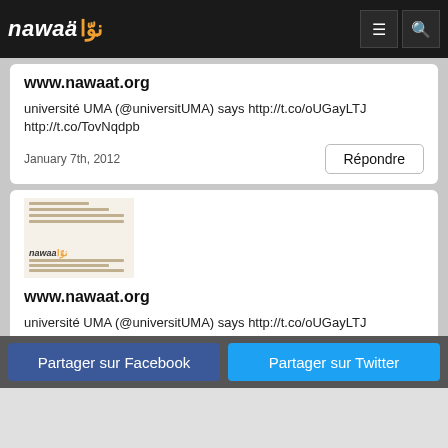nawaat
www.nawaat.org
université UMA (@universitUMA) says http://t.co/oUGayLTJ http://t.co/TovNqdpb
January 7th, 2012
Répondre
[Figure (screenshot): Nawaat website thumbnail image with logo and text lines]
www.nawaat.org
université UMA (@universitUMA) says http://t.co/oUGayLTJ http://t.co/TovNqdpb
January 7th, 2012
Répondre
Partager sur Facebook
Partager sur Twitter